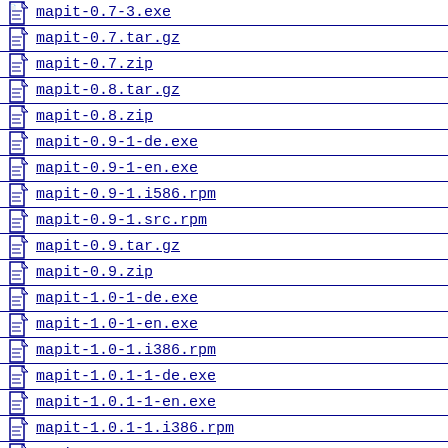mapit-0.7-3.exe
mapit-0.7.tar.gz
mapit-0.7.zip
mapit-0.8.tar.gz
mapit-0.8.zip
mapit-0.9-1-de.exe
mapit-0.9-1-en.exe
mapit-0.9-1.i586.rpm
mapit-0.9-1.src.rpm
mapit-0.9.tar.gz
mapit-0.9.zip
mapit-1.0-1-de.exe
mapit-1.0-1-en.exe
mapit-1.0-1.i386.rpm
mapit-1.0.1-1-de.exe
mapit-1.0.1-1-en.exe
mapit-1.0.1-1.i386.rpm
mapit-1.0.1-1.src.rpm
mapit-1.0.1-1.src.rpm (partial)